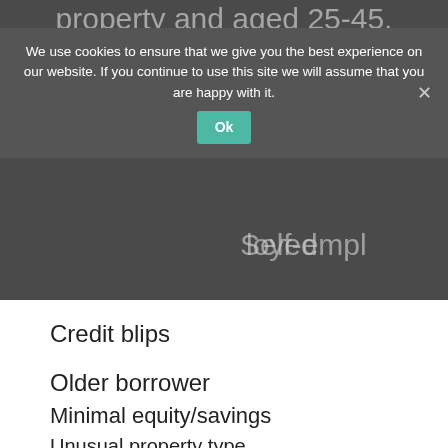property and aged 25-45.
However, what about those people
Self-employed
We use cookies to ensure that we give you the best experience on our website. If you continue to use this site we will assume that you are happy with it.
Credit blips
Older borrower
Minimal equity/savings
Unusual property type
These are key areas where it is mor Mortgage lenders aren't always kee of these categories, yet you may rep “standard” borrower.